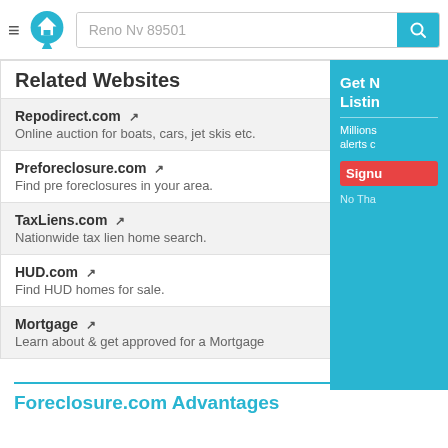Reno Nv 89501
Related Websites
Repodirect.com — Online auction for boats, cars, jet skis etc.
Preforeclosure.com — Find pre foreclosures in your area.
TaxLiens.com — Nationwide tax lien home search.
HUD.com — Find HUD homes for sale.
Mortgage — Learn about & get approved for a Mortgage
Advert
Foreclosure.com Advantages